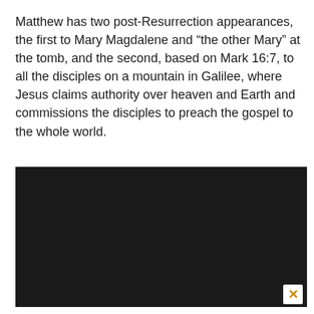Matthew has two post-Resurrection appearances, the first to Mary Magdalene and “the other Mary” at the tomb, and the second, based on Mark 16:7, to all the disciples on a mountain in Galilee, where Jesus claims authority over heaven and Earth and commissions the disciples to preach the gospel to the whole world.
[Figure (other): A large black rectangle representing an embedded video or media player, with a close/dismiss button (X) in the bottom-right corner.]